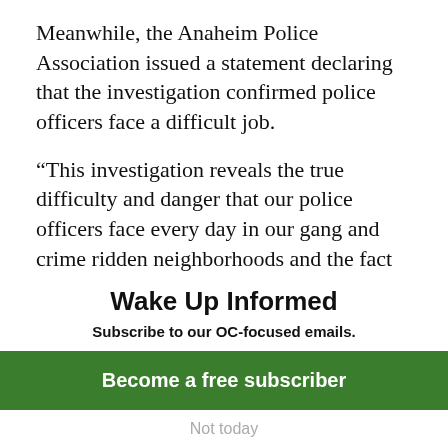Meanwhile, the Anaheim Police Association issued a statement declaring that the investigation confirmed police officers face a difficult job.
“This investigation reveals the true difficulty and danger that our police officers face every day in our gang and crime ridden neighborhoods and the fact that Manual ‘Stomper’ Diaz was a violent gang member,” Kerry Condon, president of
Wake Up Informed
Subscribe to our OC-focused emails.
Become a free subscriber
Not today